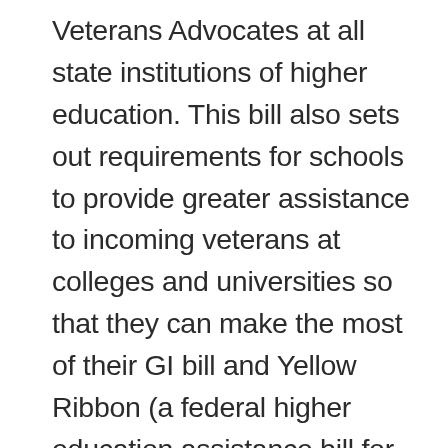Veterans Advocates at all state institutions of higher education. This bill also sets out requirements for schools to provide greater assistance to incoming veterans at colleges and universities so that they can make the most of their GI bill and Yellow Ribbon (a federal higher education assistance bill for veterans) benefits.  Because of filing deadlines and other issues, some students received funding late and had difficulties with rent and tuition payments.  HB 2491 established a uniform course completion policy for veteran students called up to active duty.  The goal is to ensure that college